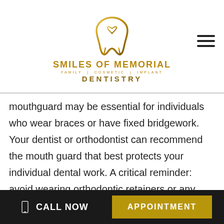[Figure (logo): Smiles of Memorial Family | Cosmetic | Implant Dentistry logo with gold tooth and heart icon]
mouthguard may be essential for individuals who wear braces or have fixed bridgework. Your dentist or orthodontist can recommend the mouth guard that best protects your individual dental work. A critical reminder: avoid wearing orthodontic retainers or any other removable appliance when participating in contact sports or leisure activities that place your mouth at risk of harm. Invisalign
CALL NOW   APPOINTMENT